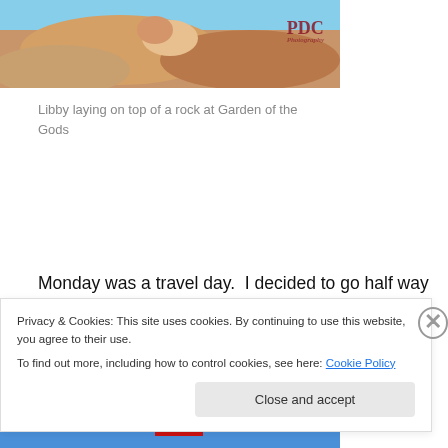[Figure (photo): Photo of Libby laying on top of a rock at Garden of the Gods, with PDC Photography watermark visible in the upper right corner]
Libby laying on top of a rock at Garden of the Gods
Monday was a travel day.  I decided to go half way to Flagstaff Arizona, stopping in Cortez Colorado.  We stopped in Alamosa County in Colorado and payed a visit to the Sand Dunes National Park.  I am so glad I purchased a park pass…it has more than paid for itself!
[Figure (photo): Photo showing blue sky with clouds, appears to be landscape shot at Sand Dunes National Park]
Privacy & Cookies: This site uses cookies. By continuing to use this website, you agree to their use.
To find out more, including how to control cookies, see here: Cookie Policy